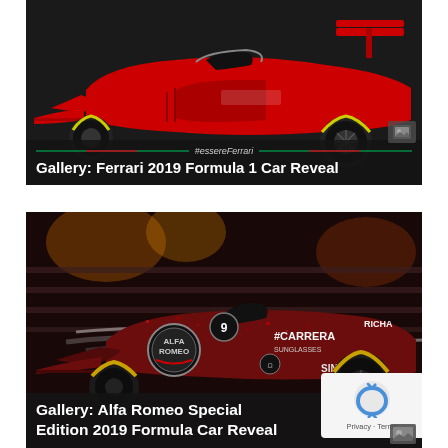[Figure (photo): Ferrari 2019 Formula 1 car reveal image on dark background with #essereFerrari hashtag line. Caption overlay reads 'Gallery: Ferrari 2019 Formula 1 Car Reveal']
[Figure (photo): Alfa Romeo Special Edition 2019 Formula 1 car in dark red/maroon livery with Alfa Romeo logo, Carrera and Singha branding visible. Caption overlay reads 'Gallery: Alfa Romeo Special Edition 2019 Formula Car Reveal'. Privacy badge visible in bottom right corner.]